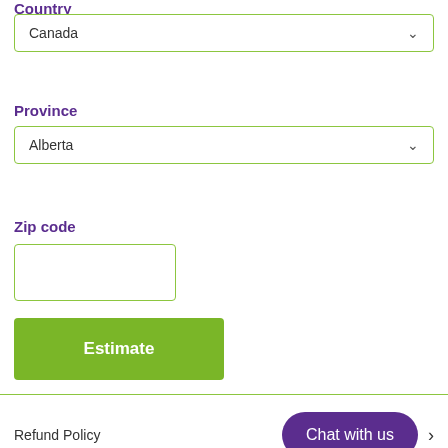Country
Canada
Province
Alberta
Zip code
Estimate
Refund Policy
Chat with us